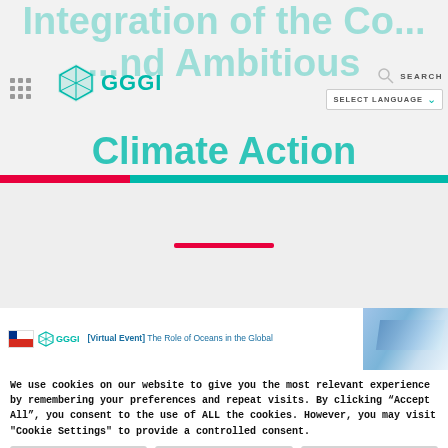Integration of the G... and Ambitious Climate Action
[Figure (logo): GGGI logo with hexagon icon and text GGGI, alongside navigation elements: hamburger menu, SEARCH button, SELECT LANGUAGE dropdown]
[Figure (screenshot): Red and teal horizontal color bars separator]
[Figure (screenshot): Gray content area with red horizontal divider line in center]
[Figure (photo): Event thumbnail: Chile flag and GGGI logo with text [Virtual Event] The Role of Oceans in the Global, with blue sky/ocean background image]
We use cookies on our website to give you the most relevant experience by remembering your preferences and repeat visits. By clicking “Accept All”, you consent to the use of ALL the cookies. However, you may visit "Cookie Settings" to provide a controlled consent.
Cookie Settings
Accept All
Reject All